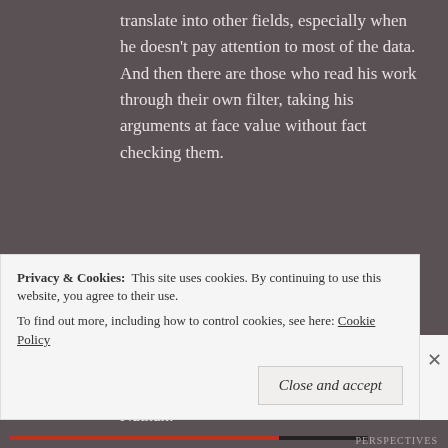translate into other fields, especially when he doesn't pay attention to most of the data. And then there are those who read his work through their own filter, taking his arguments at face value without fact checking them.
Like
Lino Di Ischia   February 17, 2019 at 12:09 pm
Nathan:
Privacy & Cookies:  This site uses cookies. By continuing to use this website, you agree to their use.
To find out more, including how to control cookies, see here: Cookie Policy
Close and accept